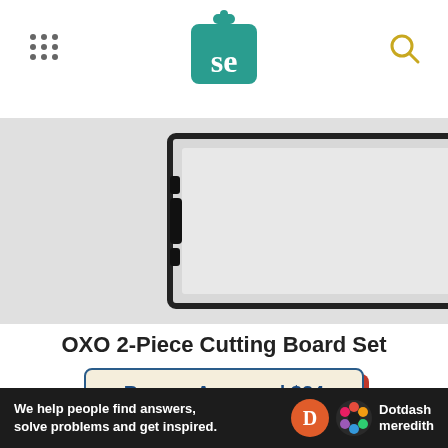Serious Eats
[Figure (photo): OXO 2-piece cutting board set product photo showing two cutting boards of different sizes]
OXO 2-Piece Cutting Board Set
Buy on Amazon | $24
Our favorite wooden cutting boards are all over $50, but you can pick up a plastic cutting board, which won't damage your blade too much. Just don't expect it to last forever; they can get dinged
[Figure (logo): Dotdash Meredith advertisement banner: We help people find answers, solve problems and get inspired.]